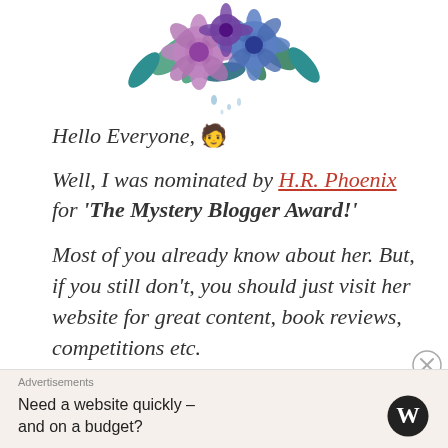[Figure (illustration): Watercolor floral arrangement with purple and blue flowers and green leaves at the top of the page]
Hello Everyone, 🧑
Well, I was nominated by H.R. Phoenix for 'The Mystery Blogger Award!'
Most of you already know about her. But, if you still don't, you should just visit her website for great content, book reviews, competitions etc.
Just name it and you'll find it. Just check her blog.
Advertisements
Need a website quickly – and on a budget?